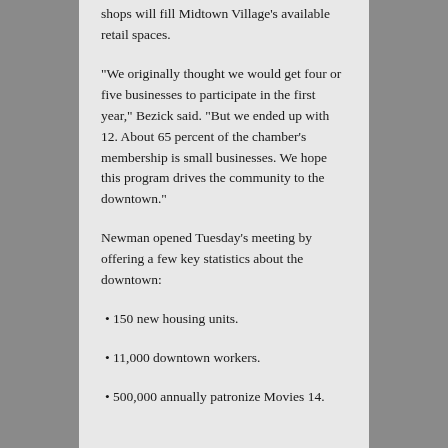shops will fill Midtown Village's available retail spaces.
“We originally thought we would get four or five businesses to participate in the first year,” Bezick said. “But we ended up with 12. About 65 percent of the chamber’s membership is small businesses. We hope this program drives the community to the downtown.”
Newman opened Tuesday’s meeting by offering a few key statistics about the downtown:
150 new housing units.
11,000 downtown workers.
500,000 annually patronize Movies 14.